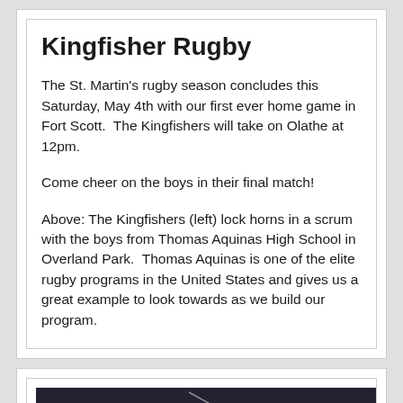Kingfisher Rugby
The St. Martin's rugby season concludes this Saturday, May 4th with our first ever home game in Fort Scott.  The Kingfishers will take on Olathe at 12pm.
Come cheer on the boys in their final match!
Above: The Kingfishers (left) lock horns in a scrum with the boys from Thomas Aquinas High School in Overland Park.  Thomas Aquinas is one of the elite rugby programs in the United States and gives us a great example to look towards as we build our program.
[Figure (photo): Photo of rugby-related objects (golden items, possibly morel mushrooms or similar, on dark fabric background with some equipment visible)]